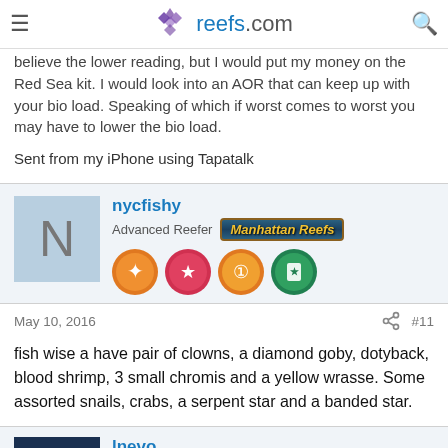reefs.com
believe the lower reading, but I would put my money on the Red Sea kit. I would look into an AOR that can keep up with your bio load. Speaking of which if worst comes to worst you may have to lower the bio load.
Sent from my iPhone using Tapatalk
nycfishy
Advanced Reefer | Manhattan Reefs
May 10, 2016   #11
fish wise a have pair of clowns, a diamond goby, dotyback, blood shrimp, 3 small chromis and a yellow wrasse. Some assorted snails, crabs, a serpent star and a banded star.
lnevo
Advanced Reefer | Manhattan Reefs